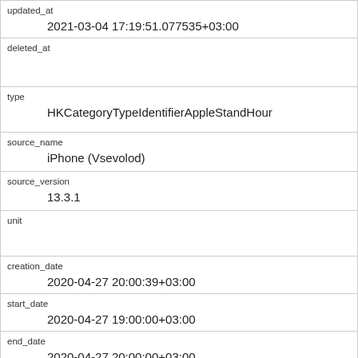| updated_at | 2021-03-04 17:19:51.077535+03:00 |
| deleted_at |  |
| type | HKCategoryTypeIdentifierAppleStandHour |
| source_name | iPhone (Vsevolod) |
| source_version | 13.3.1 |
| unit |  |
| creation_date | 2020-04-27 20:00:39+03:00 |
| start_date | 2020-04-27 19:00:00+03:00 |
| end_date | 2020-04-27 20:00:00+03:00 |
| value | HKCategoryValueAppleStandHourStood |
| device_id |  |